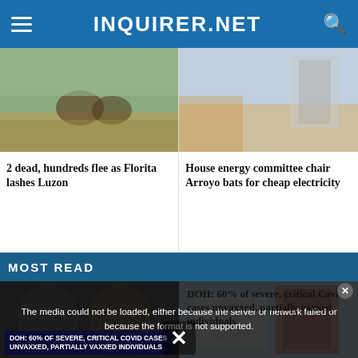INQUIRER.NET
[Figure (photo): Flooded field with cattle wading through water]
[Figure (photo): Workers in safety vests and helmets near large pipes on a road]
2 dead, hundreds flee as Florita lashes Luzon
House energy committee chair Arroyo bats for cheap electricity
MOST READ
[Figure (photo): Two men in suits — political figures]
[Figure (photo): ABS-CBN logo building and broadcast tower]
The media could not be loaded, either because the server or network failed or because the format is not supported.
DOH: 60% of severe, critical Covid cases unvaxxed, partially vaxxed individuals
DOH: 60% OF SEVERE, CRITICAL COVID CASES UNVAXXED, PARTIALLY VAXXED INDIVIDUALS